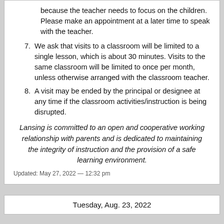because the teacher needs to focus on the children. Please make an appointment at a later time to speak with the teacher.
7. We ask that visits to a classroom will be limited to a single lesson, which is about 30 minutes. Visits to the same classroom will be limited to once per month, unless otherwise arranged with the classroom teacher.
8. A visit may be ended by the principal or designee at any time if the classroom activities/instruction is being disrupted.
Lansing is committed to an open and cooperative working relationship with parents and is dedicated to maintaining the integrity of instruction and the provision of a safe learning environment.
Updated: May 27, 2022 — 12:32 pm
Tuesday, Aug. 23, 2022